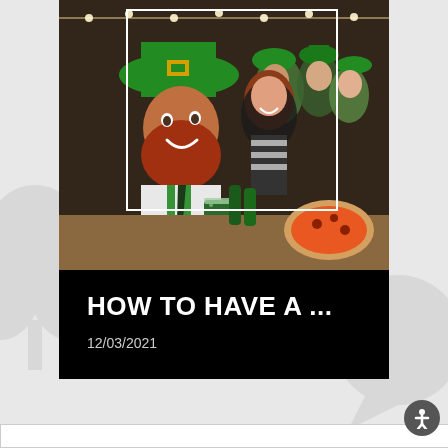[Figure (photo): Group of friends celebrating St. Patrick's Day at a bar/restaurant table, wearing green leprechaun hats, holding green beer bottles and glasses, smiling at camera. Pizza visible on table. Warm bar lighting.]
HOW TO HAVE A ...
12/03/2021